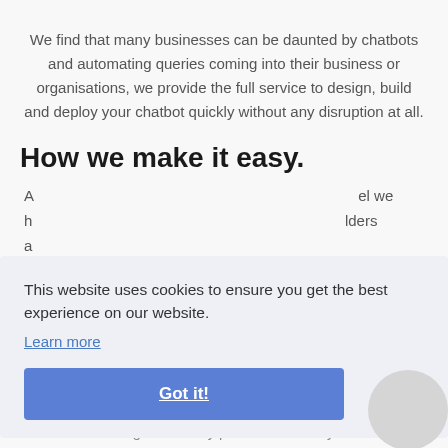We find that many businesses can be daunted by chatbots and automating queries coming into their business or organisations, we provide the full service to design, build and deploy your chatbot quickly without any disruption at all.
How we make it easy.
A... el we h... lders a... e
This website uses cookies to ensure you get the best experience on our website. Learn more Got it!
Have something that is very powerful from day one